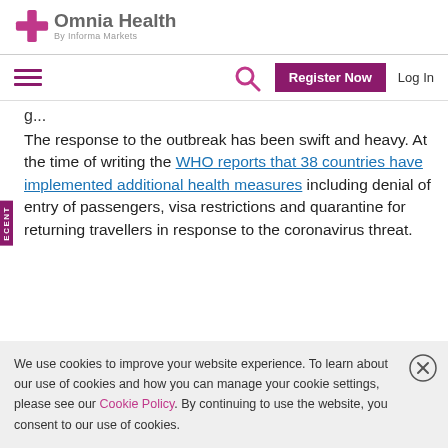[Figure (logo): Omnia Health logo with pink cross icon and 'By Informa Markets' subtitle]
Omnia Health | By Informa Markets — navigation bar with hamburger menu, search icon, Register Now button, Log In link
The response to the outbreak has been swift and heavy. At the time of writing the WHO reports that 38 countries have implemented additional health measures including denial of entry of passengers, visa restrictions and quarantine for returning travellers in response to the coronavirus threat.
We use cookies to improve your website experience. To learn about our use of cookies and how you can manage your cookie settings, please see our Cookie Policy. By continuing to use the website, you consent to our use of cookies.